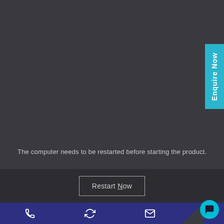[Figure (screenshot): Dark UI dialog showing a restart prompt with 'Enquire Now' tab on the right side, a message about restarting the computer, a 'Restart Now' button, and a dark blue footer bar with phone, refresh, and email icons plus a teal chat bubble.]
The computer needs to be restarted before starting the product.
Restart Now
Enquire Now